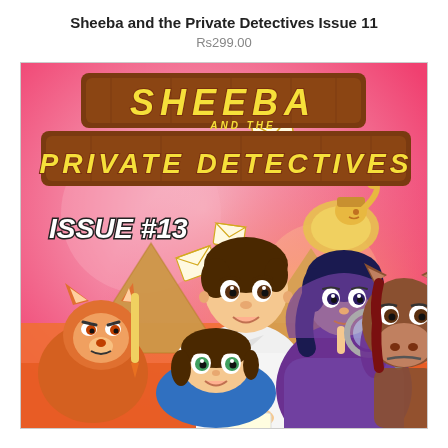Sheeba and the Private Detectives Issue 11
Rs299.00
[Figure (illustration): Comic book cover for 'Sheeba and the Private Detectives Issue #13'. Pink and orange background with animated cartoon characters: a boy in white clothing, a girl in purple hoodie holding a magnifying glass, a fox-like animal character on the left, a donkey on the right, Egyptian pyramids in the background, envelope letters flying around, and a golden sphinx figure. Bold yellow italic title text on brown wooden sign banners at the top. 'ISSUE #13' text in white bold italic at lower left.]